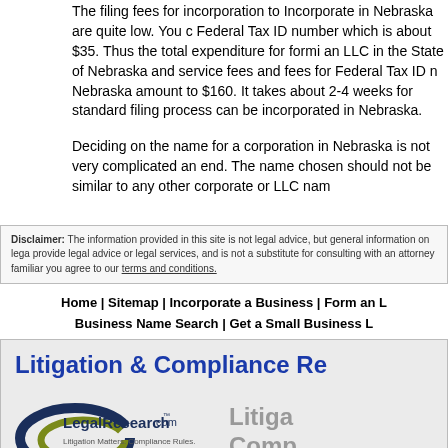The filing fees for incorporation to Incorporate in Nebraska are quite low. You can get a Federal Tax ID number which is about $35. Thus the total expenditure for forming an LLC in the State of Nebraska and service fees and fees for Federal Tax ID number in Nebraska amount to $160. It takes about 2-4 weeks for standard filing process can be incorporated in Nebraska.
Deciding on the name for a corporation in Nebraska is not very complicated and. The name chosen should not be similar to any other corporate or LLC name end.
Disclaimer: The information provided in this site is not legal advice, but general information on legal provide legal advice or legal services, and is not a substitute for consulting with an attorney familiar you agree to our terms and conditions.
Home | Sitemap | Incorporate a Business | Form an L Business Name Search | Get a Small Business L
[Figure (logo): LegalResearch.com advertisement banner with Litigation & Compliance Re heading and logo showing swirl design with text LegalResearch.com Litigation Matters. Compliance Rules.]